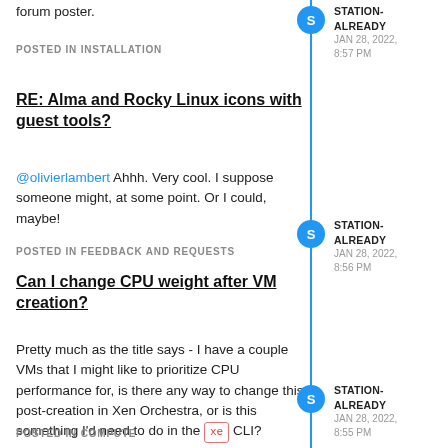forum poster.
POSTED IN INSTALLATION
RE: Alma and Rocky Linux icons with guest tools?
@olivierlambert Ahhh. Very cool. I suppose someone might, at some point. Or I could, maybe!
POSTED IN FEEDBACK AND REQUESTS
Can I change CPU weight after VM creation?
Pretty much as the title says - I have a couple VMs that I might like to prioritize CPU performance for, is there any way to change this post-creation in Xen Orchestra, or is this something I'd need to do in the xe CLI?
POSTED IN COMPUTE
STATION-ALREADY JAN 28, 2022, 8:57 PM
STATION-ALREADY JAN 28, 2022, 8:56 PM
STATION-ALREADY JAN 28, 2022, 8:55 PM